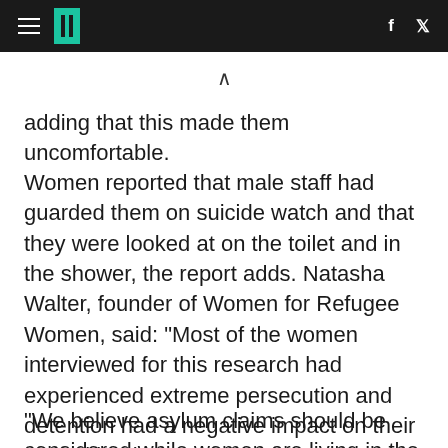HuffPost header with hamburger menu, logo, social icons (f, twitter)
adding that this made them uncomfortable.
Women reported that male staff had guarded them on suicide watch and that they were looked at on the toilet and in the shower, the report adds. Natasha Walter, founder of Women for Refugee Women, said: "Most of the women interviewed for this research had experienced extreme persecution and detention had a negative impact on their mental health.
"We believe asylum claims should be considered while women are living in the community at less